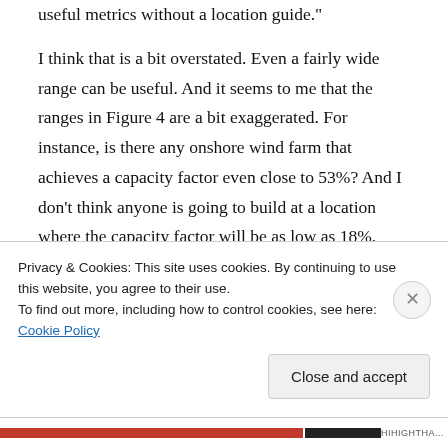useful metrics without a location guide."
I think that is a bit overstated. Even a fairly wide range can be useful. And it seems to me that the ranges in Figure 4 are a bit exaggerated. For instance, is there any onshore wind farm that achieves a capacity factor even close to 53%? And I don't think anyone is going to build at a location where the capacity factor will be as low as 18%, unless it is to satisfy a politically motivated mandate. What I would say is that a
Privacy & Cookies: This site uses cookies. By continuing to use this website, you agree to their use.
To find out more, including how to control cookies, see here: Cookie Policy